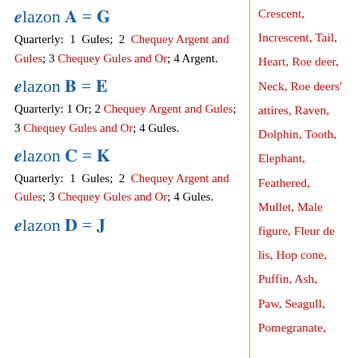Blazon A = G
Quarterly: 1 Gules; 2 Chequey Argent and Gules; 3 Chequey Gules and Or; 4 Argent.
Blazon B = E
Quarterly: 1 Or; 2 Chequey Argent and Gules; 3 Chequey Gules and Or; 4 Gules.
Blazon C = K
Quarterly: 1 Gules; 2 Chequey Argent and Gules; 3 Chequey Gules and Or; 4 Gules.
Blazon D = F
Crescent,
Increscent, Tail,
Heart, Roe deer,
Neck, Roe deers' attires, Raven,
Dolphin, Tooth,
Elephant,
Feathered,
Mullet, Male figure, Fleur de lis, Hop cone,
Puffin, Ash,
Paw, Seagull,
Pomegranate,